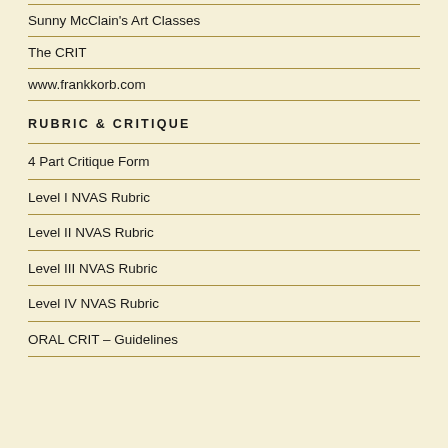Sunny McClain's Art Classes
The CRIT
www.frankkorb.com
RUBRIC & CRITIQUE
4 Part Critique Form
Level I NVAS Rubric
Level II NVAS Rubric
Level III NVAS Rubric
Level IV NVAS Rubric
ORAL CRIT – Guidelines